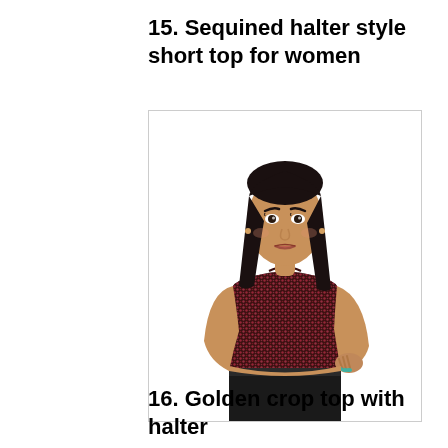15. Sequined halter style short top for women
[Figure (photo): A young woman wearing a red/black sequined halter-style short crop top, posing with hands on hips against a white background.]
16. Golden crop top with halter